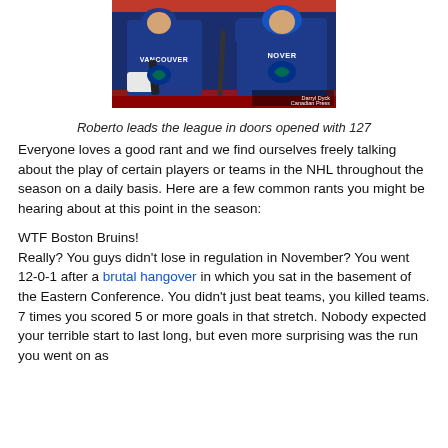[Figure (photo): Two Vancouver Canucks hockey players in blue jerseys on the ice. One player has 'VANCOUVER' on jersey, the other 'NOVER'. Photo credit: Darryl Dyck, Canadian Press.]
Roberto leads the league in doors opened with 127
Everyone loves a good rant and we find ourselves freely talking about the play of certain players or teams in the NHL throughout the season on a daily basis. Here are a few common rants you might be hearing about at this point in the season:
WTF Boston Bruins!
Really? You guys didn't lose in regulation in November? You went 12-0-1 after a brutal hangover in which you sat in the basement of the Eastern Conference. You didn't just beat teams, you killed teams. 7 times you scored 5 or more goals in that stretch. Nobody expected your terrible start to last long, but even more surprising was the run you went on as